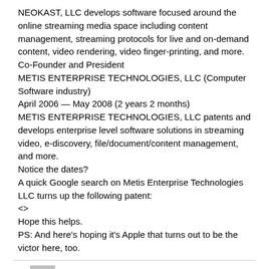NEOKAST, LLC develops software focused around the online streaming media space including content management, streaming protocols for live and on-demand content, video rendering, video finger-printing, and more.
Co-Founder and President
METIS ENTERPRISE TECHNOLOGIES, LLC (Computer Software industry)
April 2006 — May 2008 (2 years 2 months)
METIS ENTERPRISE TECHNOLOGIES, LLC patents and develops enterprise level software solutions in streaming video, e-discovery, file/document/content management, and more.
Notice the dates?
A quick Google search on Metis Enterprise Technologies LLC turns up the following patent:
<>
Hope this helps.
PS: And here's hoping it's Apple that turns out to be the victor here, too.
ad7am  March 11, 2009 at 11:16 am